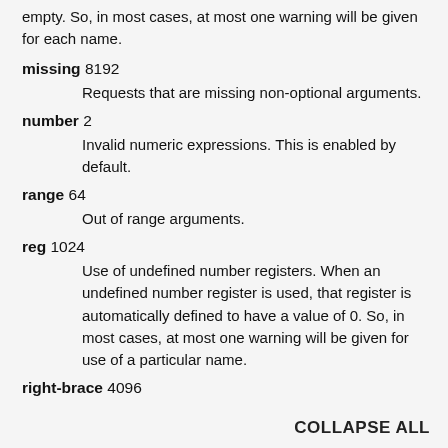empty. So, in most cases, at most one warning will be given for each name.
missing 8192 — Requests that are missing non-optional arguments.
number 2 — Invalid numeric expressions. This is enabled by default.
range 64 — Out of range arguments.
reg 1024 — Use of undefined number registers. When an undefined number register is used, that register is automatically defined to have a value of 0. So, in most cases, at most one warning will be given for use of a particular name.
right-brace 4096